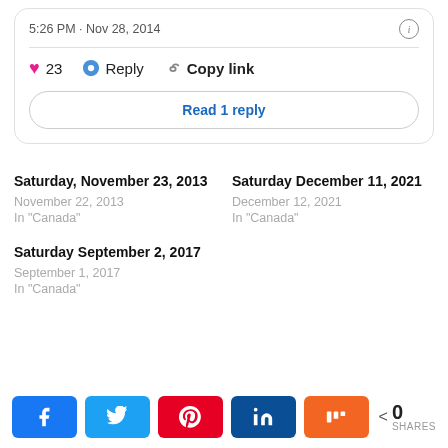5:26 PM · Nov 28, 2014
❤ 23   Reply   Copy link
Read 1 reply
Saturday, November 23, 2013
November 22, 2013
In "Canada"
Saturday December 11, 2021
December 12, 2021
In "Canada"
Saturday September 2, 2017
September 1, 2017
In "Canada"
< 0 SHARES